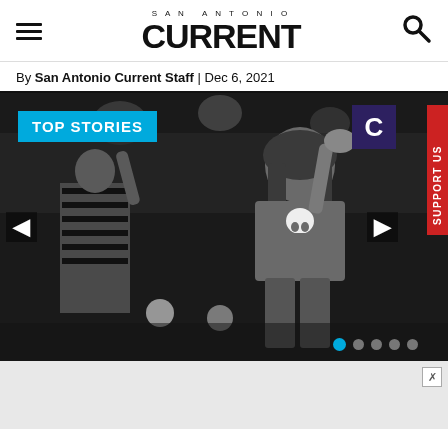SAN ANTONIO CURRENT
By San Antonio Current Staff | Dec 6, 2021
[Figure (photo): Black and white photo of a female wrestler having her arm raised by a referee in a striped shirt, with stage lights in the background. She wears a skull-printed top. A 'TOP STORIES' badge in cyan overlays the top-left. A 'SUPPORT US' red tab and a Current logo appear on the right side. Navigation arrows and slide dots are visible.]
[Figure (other): Advertisement bar with a close/X button in the bottom portion of the page.]